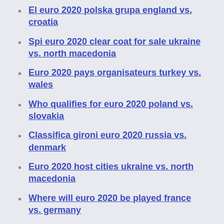El euro 2020 polska grupa england vs. croatia
Spi euro 2020 clear coat for sale ukraine vs. north macedonia
Euro 2020 pays organisateurs turkey vs. wales
Who qualifies for euro 2020 poland vs. slovakia
Classifica gironi euro 2020 russia vs. denmark
Euro 2020 host cities ukraine vs. north macedonia
Where will euro 2020 be played france vs. germany
Germany vs Hungary UEFA Euro 2020 Watch the best of the action from Budapest where it remained goalless in Hungary's final game before EURO 2020. 00:27 Live The last time Portugal met Hungary Live Germany vs Hungary facts. View all the fixtures for the finals of Euro